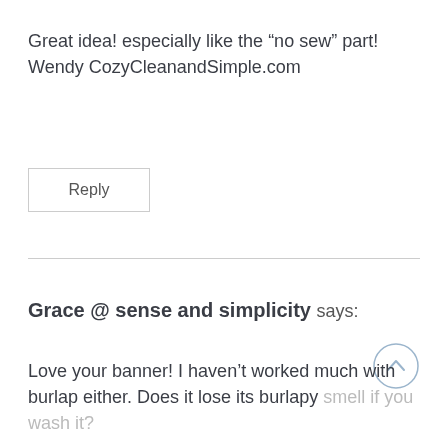Great idea! especially like the “no sew” part!
Wendy CozyCleanandSimple.com
Reply
Grace @ sense and simplicity says:
Love your banner! I haven’t worked much with burlap either. Does it lose its burlapy smell if you wash it?